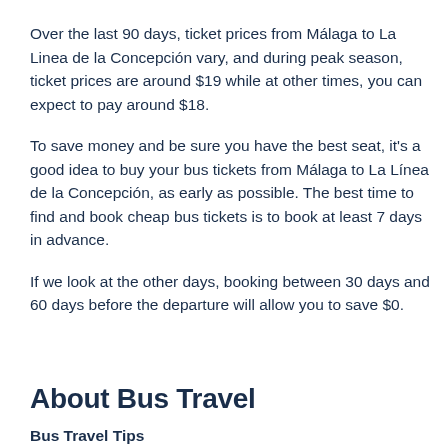Over the last 90 days, ticket prices from Málaga to La Linea de la Concepción vary, and during peak season, ticket prices are around $19 while at other times, you can expect to pay around $18.
To save money and be sure you have the best seat, it's a good idea to buy your bus tickets from Málaga to La Línea de la Concepción, as early as possible. The best time to find and book cheap bus tickets is to book at least 7 days in advance.
If we look at the other days, booking between 30 days and 60 days before the departure will allow you to save $0.
About Bus Travel
Bus Travel Tips
Make friends with the driver. They usually know a lot about your destination and may even recommend which side of the bus to sit on to get the best views on the road between